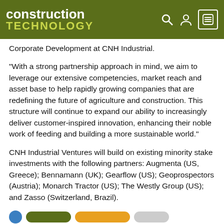construction TECHNOLOGY
Corporate Development at CNH Industrial.
“With a strong partnership approach in mind, we aim to leverage our extensive competencies, market reach and asset base to help rapidly growing companies that are redefining the future of agriculture and construction. This structure will continue to expand our ability to increasingly deliver customer-inspired innovation, enhancing their noble work of feeding and building a more sustainable world.”
CNH Industrial Ventures will build on existing minority stake investments with the following partners: Augmenta (US, Greece); Bennamann (UK); Gearflow (US); Geoprospectors (Austria); Monarch Tractor (US); The Westly Group (US); and Zasso (Switzerland, Brazil).